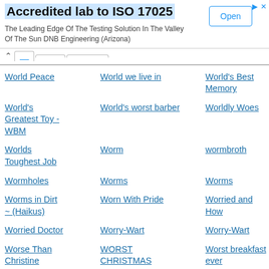[Figure (screenshot): Advertisement banner for 'Accredited lab to ISO 17025' by DNB Engineering (Arizona) with an 'Open' button]
World Peace
World we live in
World's Best Memory
World's Greatest Toy - WBM
World's worst barber
Worldly Woes
Worlds Toughest Job
Worm
wormbroth
Wormholes
Worms
Worms
Worms in Dirt ~ (Haikus)
Worn With Pride
Worried and How
Worried Doctor
Worry-Wart
Worry-Wart
Worse Than Christine
WORST CHRISTMAS PRESENTS
Worst breakfast ever